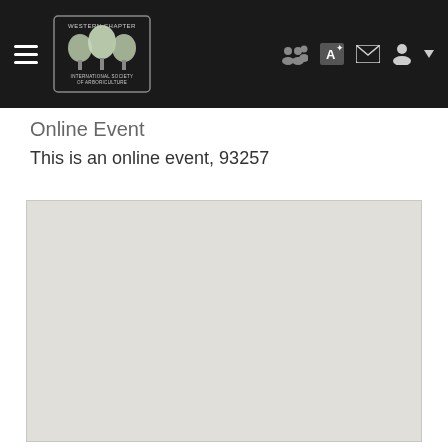Western Chapter International Society of Arboriculture — navigation bar
Online Event
This is an online event, 93257
[Figure (map): Blank light-gray map placeholder area for the online event location]